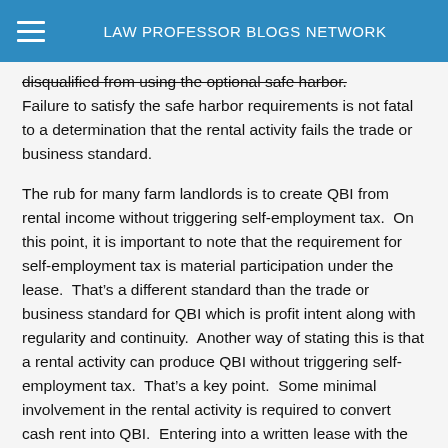LAW PROFESSOR BLOGS NETWORK
disqualified from using the optional safe harbor. Failure to satisfy the safe harbor requirements is not fatal to a determination that the rental activity fails the trade or business standard.
The rub for many farm landlords is to create QBI from rental income without triggering self-employment tax.  On this point, it is important to note that the requirement for self-employment tax is material participation under the lease.  That’s a different standard than the trade or business standard for QBI which is profit intent along with regularity and continuity.  Another way of stating this is that a rental activity can produce QBI without triggering self-employment tax.  That’s a key point.  Some minimal involvement in the rental activity is required to convert cash rent into QBI.  Entering into a written lease with the tenant that details the